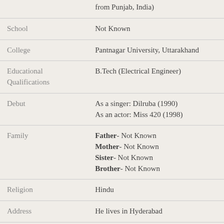| Field | Value |
| --- | --- |
|  | from Punjab, India) |
| School | Not Known |
| College | Pantnagar University, Uttarakhand |
| Educational Qualifications | B.Tech (Electrical Engineer) |
| Debut | As a singer: Dilruba (1990)
As an actor: Miss 420 (1998) |
| Family | Father- Not Known
Mother- Not Known
Sister- Not Known
Brother- Not Known |
| Religion | Hindu |
| Address | He lives in Hyderabad |